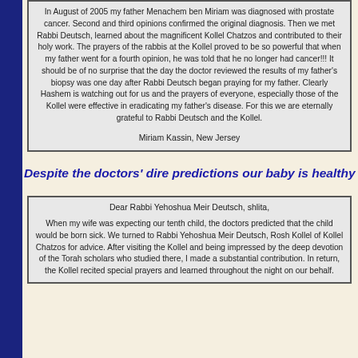In August of 2005 my father Menachem ben Miriam was diagnosed with prostate cancer. Second and third opinions confirmed the original diagnosis. Then we met Rabbi Deutsch, learned about the magnificent Kollel Chatzos and contributed to their holy work. The prayers of the rabbis at the Kollel proved to be so powerful that when my father went for a fourth opinion, he was told that he no longer had cancer!!! It should be of no surprise that the day the doctor reviewed the results of my father's biopsy was one day after Rabbi Deutsch began praying for my father. Clearly Hashem is watching out for us and the prayers of everyone, especially those of the Kollel were effective in eradicating my father's disease. For this we are eternally grateful to Rabbi Deutsch and the Kollel.

Miriam Kassin, New Jersey
Despite the doctors' dire predictions our baby is healthy
Dear Rabbi Yehoshua Meir Deutsch, shlita,

When my wife was expecting our tenth child, the doctors predicted that the child would be born sick. We turned to Rabbi Yehoshua Meir Deutsch, Rosh Kollel of Kollel Chatzos for advice. After visiting the Kollel and being impressed by the deep devotion of the Torah scholars who studied there, I made a substantial contribution. In return, the Kollel recited special prayers and learned throughout the night on our behalf.